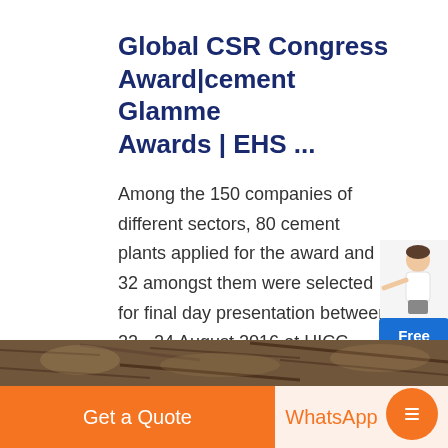Global CSR Congress Award|cement Glamme Awards | EHS ...
Among the 150 companies of different sectors, 80 cement plants applied for the award and 32 amongst them were selected for final day presentation between 22 - 24 August 2016 at HICC, Hyderabad. Shortlisted companies presented their steps taken toward achieving energy efficiency and was duly evaluated by panel members of CII.
[Figure (photo): Bottom strip showing a textured stone or ground surface image]